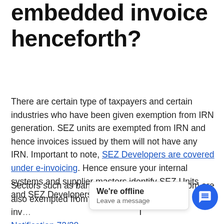embedded invoice henceforth?
There are certain type of taxpayers and certain industries who have been given exemption from IRN generation. SEZ units are exempted from IRN and hence invoices issued by them will not have any IRN. Important to note, SEZ Developers are covered under e-invoicing. Hence ensure your internal systems and supplier masters identify SEZ Units and SEZ Developers as separate types.
Sectors such as banking, insurance and telecom are also exempted from e-inv... T Notification 72/20... Commissioner, who on recommendation of GST Council